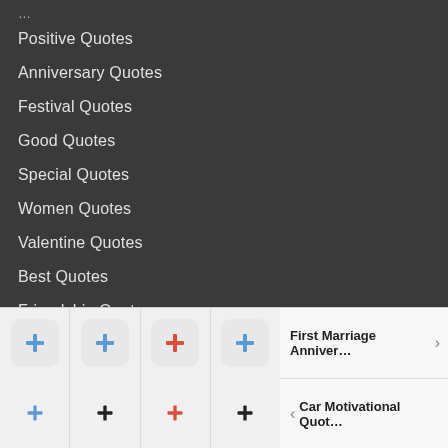Positive Quotes
Anniversary Quotes
Festival Quotes
Good Quotes
Special Quotes
Women Quotes
Valentine Quotes
Best Quotes
Friendship Quotes
Rose Day Quotes
Motivational Quotes
Saturday Quotes
Funny Quotes
Short Quotes
Success Quotes
Animal Quotes
[Figure (screenshot): Bottom navigation bar with four icon buttons in rounded squares (blue, blue, red, blue) and two navigation items: 'First Marriage Anniver...' with right arrow and 'Car Motivational Quot...' with left arrow]